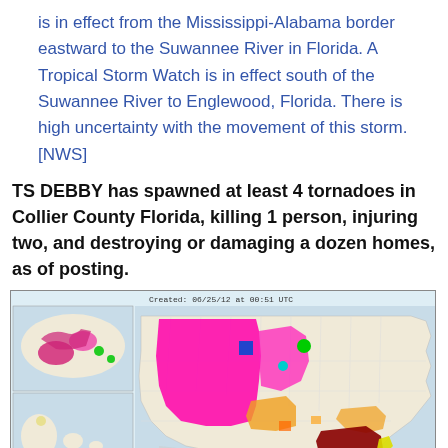is in effect from the Mississippi-Alabama border eastward to the Suwannee River in Florida. A Tropical Storm Watch is in effect south of the Suwannee River to Englewood, Florida. There is high uncertainty with the movement of this storm. [NWS]
TS DEBBY has spawned at least 4 tornadoes in Collier County Florida, killing 1 person, injuring two, and destroying or damaging a dozen homes, as of posting.
[Figure (map): NWS weather map of the United States showing various weather warnings and advisories created 06/25/12 at 00:51 UTC. Shows Alaska and Hawaii insets. Colored regions indicate tornado warnings (red), red flag warnings (magenta/pink), and heat advisories (orange). A large pink/magenta region covers much of the western US. Dark red region visible in Gulf Coast/Florida area.]
Additional locations: • American Samoa • Guam • Puerto Rico/Virgin Islands
Tornado Warning   Red Flag Warning   Heat Advisory